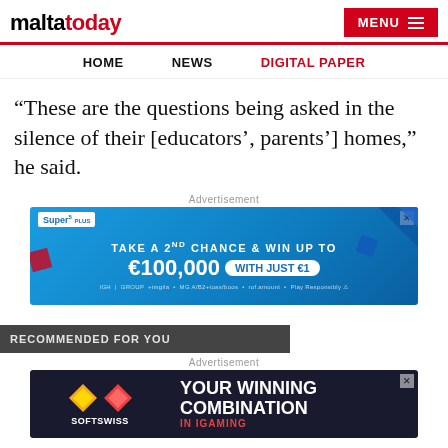maltatoday | MENU
HOME   NEWS   DIGITAL PAPER
“These are the questions being asked in the silence of their [educators’, parents’] homes,” he said.
Advertisement
[Figure (other): Super 5 Plus lottery advertisement: TAKE A 2ND CHANCE & WIN UP TO €100,000 WITH JUST €1]
RECOMMENDED FOR YOU
Advertisement
[Figure (other): SOFTSWISS advertisement: YOUR WINNING COMBINATION IN IGAMING]